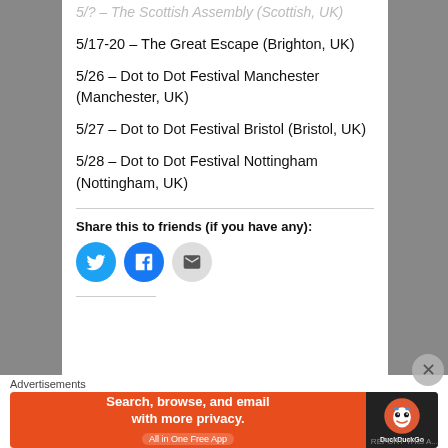5/17-20 – The Great Escape (Brighton, UK)
5/26 – Dot to Dot Festival Manchester (Manchester, UK)
5/27 – Dot to Dot Festival Bristol (Bristol, UK)
5/28 – Dot to Dot Festival Nottingham (Nottingham, UK)
Share this to friends (if you have any):
[Figure (infographic): Social sharing icons: Twitter (blue circle), Facebook (blue circle), Email (grey circle)]
Advertisements
[Figure (screenshot): DuckDuckGo advertisement banner: 'Search, browse, and email with more privacy. All in One Free App' on orange background with DuckDuckGo logo]